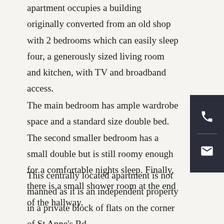apartment occupies a building originally converted from an old shop with 2 bedrooms which can easily sleep four, a generously sized living room and kitchen, with TV and broadband access.
The main bedroom has ample wardrobe space and a standard size double bed. The second smaller bedroom has a small double but is still roomy enough for a comfortable nights sleep. Finally, there is a small shower room at the end of the hallway.
[Figure (other): Dark sidebar with phone and email icon buttons]
This centrally located apartment is not manned as it is an independent property in a private block of flats on the corner of St Anne's Rd.